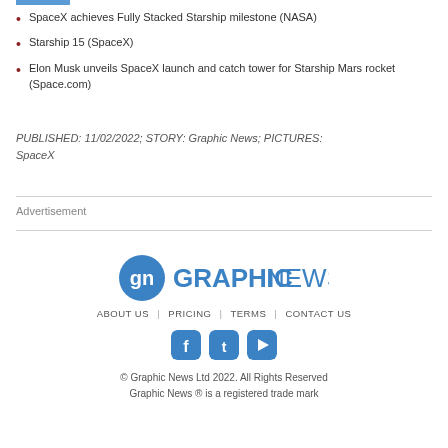SpaceX achieves Fully Stacked Starship milestone (NASA)
Starship 15 (SpaceX)
Elon Musk unveils SpaceX launch and catch tower for Starship Mars rocket (Space.com)
PUBLISHED: 11/02/2022; STORY: Graphic News; PICTURES: SpaceX
Advertisement
[Figure (logo): Graphic News logo with stylized 'gn' icon and GRAPHICNEWS text in blue]
ABOUT US | PRICING | TERMS | CONTACT US
© Graphic News Ltd 2022. All Rights Reserved Graphic News ® is a registered trade mark